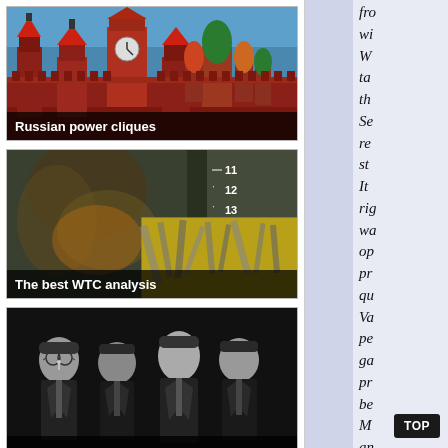[Figure (photo): Photograph of the Moscow Kremlin and St. Basil's Cathedral with red brick walls and colorful onion domes against a blue sky. Caption overlay reads 'Russian power cliques'.]
[Figure (photo): Dark smoky image related to WTC analysis with numbers 11, 12, 13 overlaid and an inset aerial photograph of the WTC site rubble. Caption overlay reads 'The best WTC analysis'.]
[Figure (photo): Black and white photograph of four men in suits, associated with the Black Dragon Society. Caption overlay reads 'The Black Dragon Society: Japanese'. Below image text: 'fascism'.]
fro wi W ta th Se re st It rig wa op pr qu Va pe ga pr be M an So
TOP